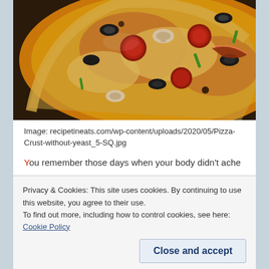[Figure (photo): Close-up photo of a pizza with various toppings including pepperoni, black olives, mushrooms, bacon, and green peppers on a cheesy base, shown in a dark pan.]
Image: recipetineats.com/wp-content/uploads/2020/05/Pizza-Crust-without-yeast_5-SQ.jpg
You remember those days when your body didn't ache
Or you could eat two pizzas and not gain a pound
Privacy & Cookies: This site uses cookies. By continuing to use this website, you agree to their use.
To find out more, including how to control cookies, see here: Cookie Policy
Close and accept